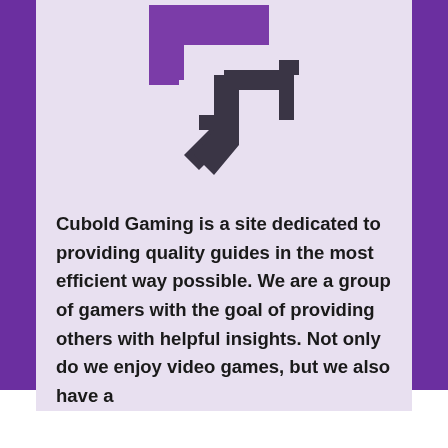[Figure (logo): Cubold Gaming logo — a stylized 'S' or interlocked geometric shape with purple and dark charcoal/gray colors on a light lavender background]
Cubold Gaming is a site dedicated to providing quality guides in the most efficient way possible. We are a group of gamers with the goal of providing others with helpful insights. Not only do we enjoy video games, but we also have a